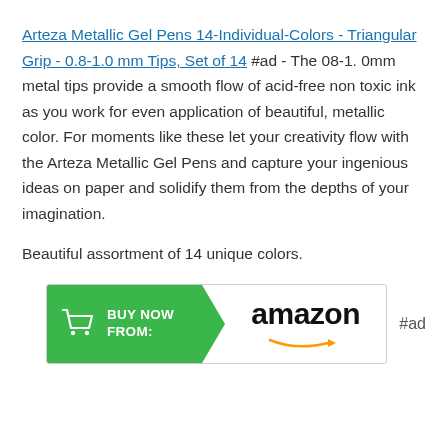Arteza Metallic Gel Pens 14-Individual-Colors - Triangular Grip - 0.8-1.0 mm Tips, Set of 14 #ad - The 08-1. 0mm metal tips provide a smooth flow of acid-free non toxic ink as you work for even application of beautiful, metallic color. For moments like these let your creativity flow with the Arteza Metallic Gel Pens and capture your ingenious ideas on paper and solidify them from the depths of your imagination.
Beautiful assortment of 14 unique colors.
[Figure (other): Amazon 'Buy Now From' button with green arrow shape on left showing shopping cart icon and 'BUY NOW FROM:' text, white panel on right with Amazon logo and orange smile arrow. '#ad' text to the right.]